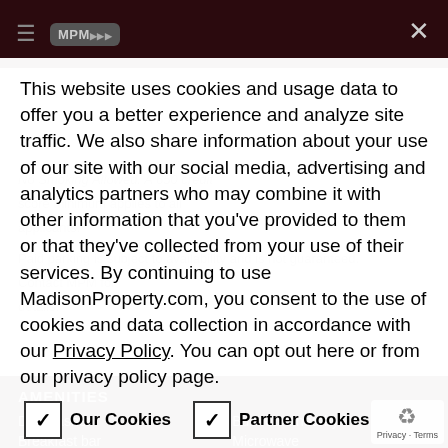MPM [logo] ☰  ✕
This website uses cookies and usage data to offer you a better experience and analyze site traffic. We also share information about your use of our site with our social media, advertising and analytics partners who may combine it with other information that you've provided to them or that they've collected from your use of their services. By continuing to use MadisonProperty.com, you consent to the use of cookies and data collection in accordance with our Privacy Policy. You can opt out here or from our privacy policy page.
☑ Our Cookies   ☑ Partner Cookies
Accept
AMENITIES
Bus route nearby
Breakfast bar
Microwave
Underground garage
Stainless appliances
Building has a fitness center
Building has an elevator
Central Air
Balcony
Luxury Vinyl Plank
Dog Wash Station